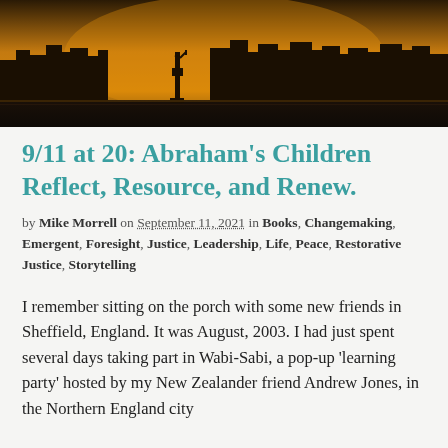[Figure (photo): City skyline at dusk or dawn with golden/amber haze, silhouette of buildings and what appears to be the Statue of Liberty, viewed from water]
9/11 at 20: Abraham's Children Reflect, Resource, and Renew.
by Mike Morrell on September 11, 2021 in Books, Changemaking, Emergent, Foresight, Justice, Leadership, Life, Peace, Restorative Justice, Storytelling
I remember sitting on the porch with some new friends in Sheffield, England. It was August, 2003. I had just spent several days taking part in Wabi-Sabi, a pop-up 'learning party' hosted by my New Zealander friend Andrew Jones, in the Northern England city